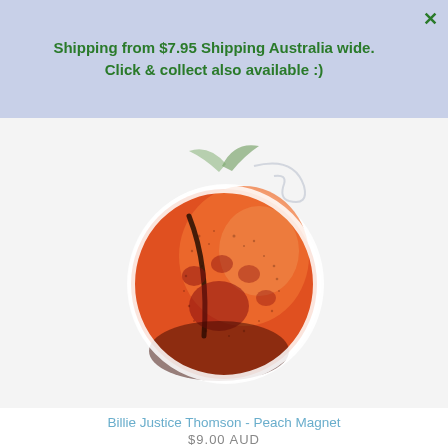Shipping from $7.95 Shipping Australia wide. Click & collect also available :)
[Figure (illustration): A circular sticker illustration of a peach fruit with a paw print visible on its surface, rendered in red and orange tones with black outline details, against a light background.]
Billie Justice Thomson - Peach Magnet
$9.00 AUD